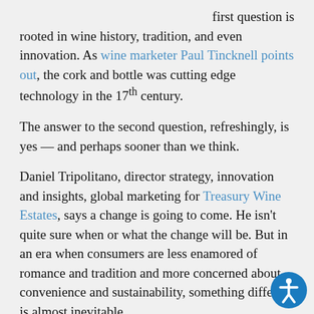first question is rooted in wine history, tradition, and even innovation. As wine marketer Paul Tincknell points out, the cork and bottle was cutting edge technology in the 17th century.
The answer to the second question, refreshingly, is yes — and perhaps sooner than we think.
Daniel Tripolitano, director strategy, innovation and insights, global marketing for Treasury Wine Estates, says a change is going to come. He isn't quite sure when or what the change will be. But in an era when consumers are less enamored of romance and tradition and more concerned about convenience and sustainability, something different is almost inevitable.
Also worth noting: As baby boomers give way to younger wine drinkers, dinner becomes less important